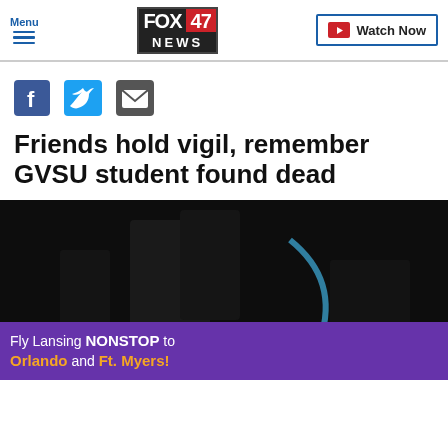Menu | FOX 47 NEWS | Watch Now
[Figure (logo): FOX 47 NEWS logo with red 47 on dark background]
[Figure (infographic): Social sharing icons: Facebook (blue), Twitter (blue bird), Email (envelope)]
Friends hold vigil, remember GVSU student found dead
[Figure (photo): Dark nighttime vigil scene with candlelight, partially obscured by advertisement banner]
[Figure (infographic): Advertisement banner: Fly Lansing NONSTOP to Orlando and Ft. Myers! with Avelo airplane logo on purple and yellow background]